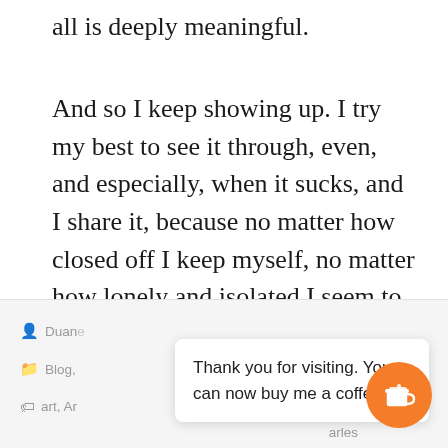all is deeply meaningful.
And so I keep showing up. I try my best to see it through, even, and especially, when it sucks, and I share it, because no matter how closed off I keep myself, no matter how lonely and isolated I seem to be, in some tucked away corner of my mind I know this is a shared journey.
Duane  Blog,  art, Ar  arles  Thank you for visiting. You can now buy me a coffee!